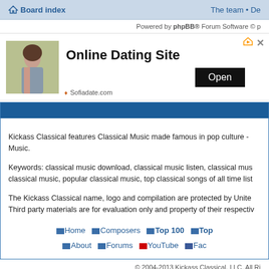Board index   The team • De
Powered by phpBB® Forum Software © p
[Figure (screenshot): Online Dating Site advertisement banner with photo of woman, 'Open' button, and Sofiadate.com source label]
Kickass Classical features Classical Music made famous in pop culture - Music.
Keywords: classical music download, classical music listen, classical mus classical music, popular classical music, top classical songs of all time list
The Kickass Classical name, logo and compilation are protected by Unite Third party materials are for evaluation only and property of their respectiv
Home Composers Top 100 Top About Forums YouTube Fac
© 2004-2013 Kickass Classical, LLC. All Ri